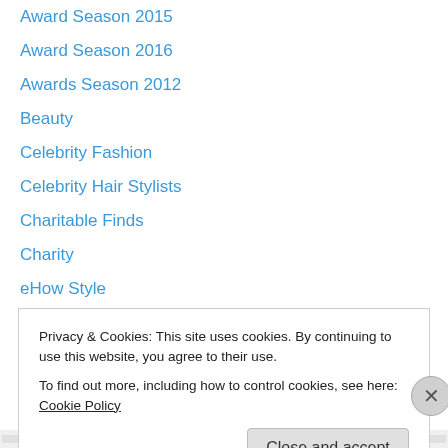Award Season 2015
Award Season 2016
Awards Season 2012
Beauty
Celebrity Fashion
Celebrity Hair Stylists
Charitable Finds
Charity
eHow Style
Entertaining
Family
Fashion
Fashion Week 2011
Privacy & Cookies: This site uses cookies. By continuing to use this website, you agree to their use. To find out more, including how to control cookies, see here: Cookie Policy
Close and accept